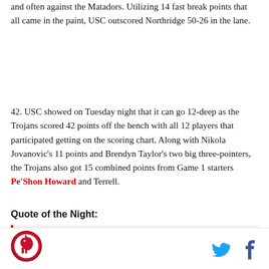and often against the Matadors. Utilizing 14 fast break points that all came in the paint, USC outscored Northridge 50-26 in the lane.
42. USC showed on Tuesday night that it can go 12-deep as the Trojans scored 42 points off the bench with all 12 players that participated getting on the scoring chart. Along with Nikola Jovanovic's 11 points and Brendyn Taylor's two big three-pointers, the Trojans also got 15 combined points from Game 1 starters Pe'Shon Howard and Terrell.
Quote of the Night: